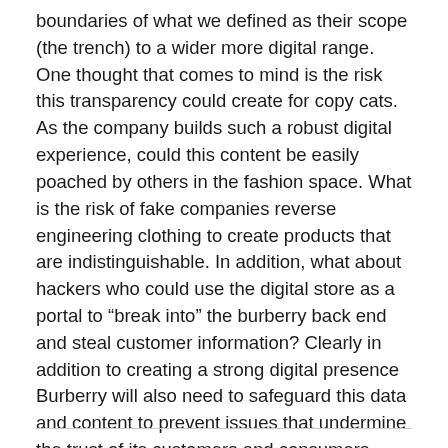boundaries of what we defined as their scope (the trench) to a wider more digital range. One thought that comes to mind is the risk this transparency could create for copy cats. As the company builds such a robust digital experience, could this content be easily poached by others in the fashion space. What is the risk of fake companies reverse engineering clothing to create products that are indistinguishable. In addition, what about hackers who could use the digital store as a portal to “break into” the burberry back end and steal customer information? Clearly in addition to creating a strong digital presence Burberry will also need to safeguard this data and content to prevent issues that undermine the trust of its customers and consumers.